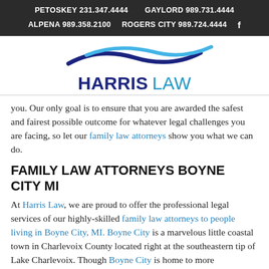PETOSKEY 231.347.4444   GAYLORD 989.731.4444   ALPENA 989.358.2100   ROGERS CITY 989.724.4444
[Figure (logo): Harris Law logo with wave graphic above text. Two curved swoosh lines (dark navy and light blue) above bold navy HARRIS and lighter blue LAW text.]
you. Our only goal is to ensure that you are awarded the safest and fairest possible outcome for whatever legal challenges you are facing, so let our family law attorneys show you what we can do.
FAMILY LAW ATTORNEYS BOYNE CITY MI
At Harris Law, we are proud to offer the professional legal services of our highly-skilled family law attorneys to people living in Boyne City, MI. Boyne City is a marvelous little coastal town in Charlevoix County located right at the southeastern tip of Lake Charlevoix. Though Boyne City is home to more